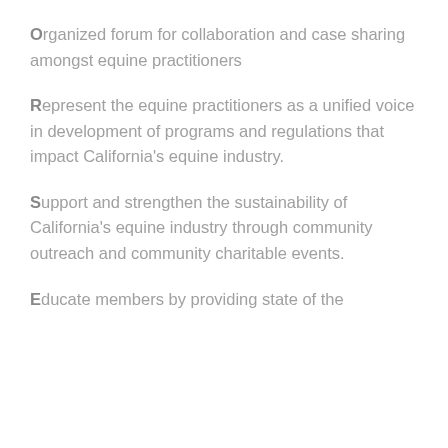Organized forum for collaboration and case sharing amongst equine practitioners
Represent the equine practitioners as a unified voice in development of programs and regulations that impact California's equine industry.
Support and strengthen the sustainability of California's equine industry through community outreach and community charitable events.
Educate members by providing state of the...